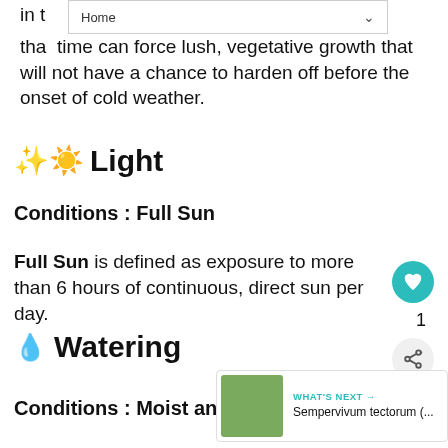Home
in [text cut off]
that time can force lush, vegetative growth that will not have a chance to harden off before the onset of cold weather.
🌞 Light
Conditions : Full Sun
Full Sun is defined as exposure to more than 6 hours of continuous, direct sun per day.
💧 Watering
Conditions : Moist and Well Drain...